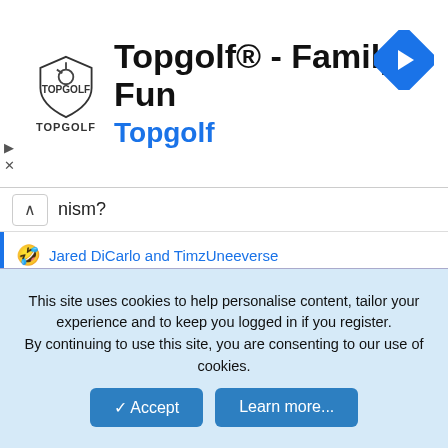[Figure (screenshot): Topgolf advertisement banner with shield logo, title 'Topgolf® - Family Fun', subtitle 'Topgolf' in blue, and a navigation arrow icon]
nism?
🤣 Jared DiCarlo and TimzUneeverse
clipjj27
Well-Known Member
Dec 11, 2021
#1,226
This site uses cookies to help personalise content, tailor your experience and to keep you logged in if you register.
By continuing to use this site, you are consenting to our use of cookies.